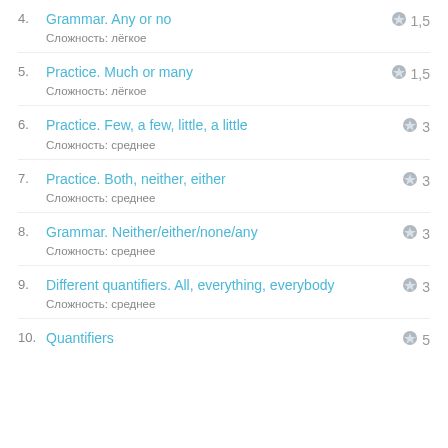4. Grammar. Any or no — Сложность: лёгкое — 1,5
5. Practice. Much or many — Сложность: лёгкое — 1,5
6. Practice. Few, a few, little, a little — Сложность: среднее — 3
7. Practice. Both, neither, either — Сложность: среднее — 3
8. Grammar. Neither/either/none/any — Сложность: среднее — 3
9. Different quantifiers. All, everything, everybody — Сложность: среднее — 3
10. Quantifiers — 5